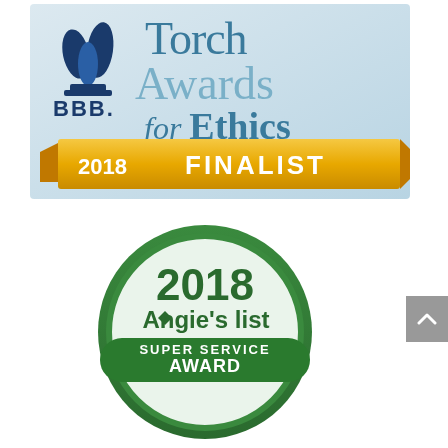[Figure (logo): BBB Torch Awards for Ethics 2018 Finalist logo. Features the BBB flame logo in dark blue on the left, large text 'Torch Awards for Ethics' in teal/blue-gray, and a gold/orange ribbon banner across the bottom reading '2018 FINALIST'. Background is a light blue-gray gradient.]
[Figure (logo): Angie's List Super Service Award 2018 logo. A circular badge with a green border and light green interior. Text reads '2018' at the top in large dark green, 'Angie's list' in the middle with a small diamond icon, and 'SUPER SERVICE AWARD' at the bottom in bold dark green.]